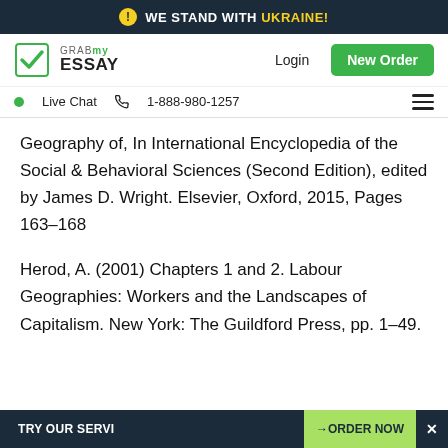WE STAND WITH UKRAINE!
[Figure (screenshot): GrabMyEssay logo with navigation bar showing Login and New Order button]
Live Chat  1-888-980-1257
Geography of, In International Encyclopedia of the Social & Behavioral Sciences (Second Edition), edited by James D. Wright. Elsevier, Oxford, 2015, Pages 163-168
Herod, A. (2001) Chapters 1 and 2. Labour Geographies: Workers and the Landscapes of Capitalism. New York: The Guildford Press, pp. 1-49.
TRY OUR SERVI  →ORDER NOW  ×